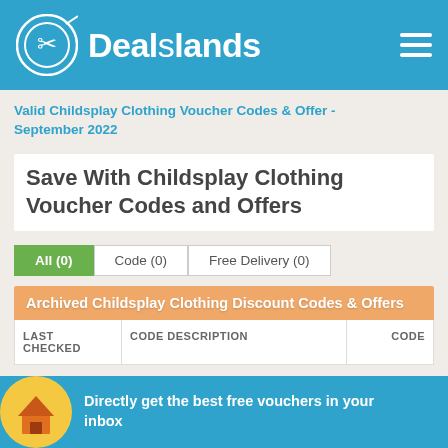Dealslands
Valid Childsplay Clothing Voucher Codes & Offer - September 2022
Save With Childsplay Clothing Voucher Codes and Offers
All (0)
Code (0)
Free Delivery (0)
| LAST CHECKED | CODE DESCRIPTION | CODE |
| --- | --- | --- |
Directly get the best free vouchers in your inbox